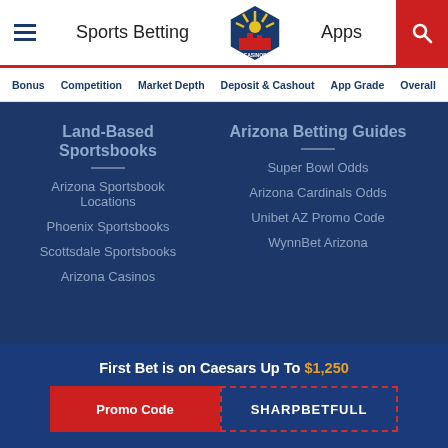Sports Betting | Apps | Arizona Casinos
Bonus | Competition | Market Depth | Deposit & Cashout | App Grade | Overall
Land-Based Sportsbooks
Arizona Sportsbook Locations
Phoenix Sportsbooks
Scottsdale Sportsbooks
Arizona Casinos
Arizona Betting Guides
Super Bowl Odds
Arizona Cardinals Odds
Unibet AZ Promo Code
WynnBet Arizona
First Bet is on Caesars Up To $1,250
Promo Code SHARPBETFULL